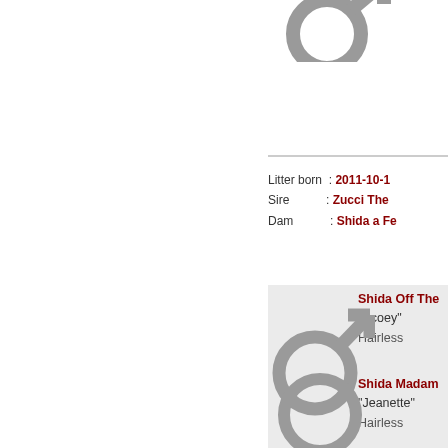[Figure (illustration): Male gender symbol (♂) partially visible at top, cropped]
Litter born : 2011-10-1
Sire : Zucci The
Dam : Shida a Fe
Shida Off The
"Scoey"
Hairless
[Figure (illustration): Male gender symbol (♂) inside gray box]
Shida Madam
"Jeanette"
Hairless
[Figure (illustration): Female gender symbol (♀) at bottom]